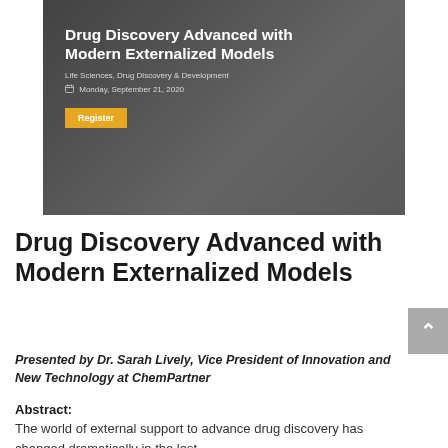[Figure (screenshot): Banner image showing a webinar registration page. Background shows a blurred lab/hallway with a person in a lab coat. White bold text reads 'Drug Discovery Advanced with Modern Externalized Models', subtitle 'Life Sciences, Drug Discovery & Development', date 'Monday, September 21, 2020', and an orange 'Register' button.]
Drug Discovery Advanced with Modern Externalized Models
Presented by Dr. Sarah Lively, Vice President of Innovation and New Technology at ChemPartner
Abstract: The world of external support to advance drug discovery has changed dramatically in the last